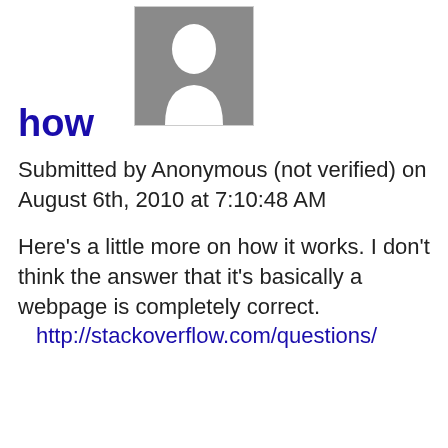how
[Figure (illustration): Anonymous user avatar — grey silhouette of a person's head and shoulders on a grey square background with a light border.]
Submitted by Anonymous (not verified) on August 6th, 2010 at 7:10:48 AM
Here's a little more on how it works. I don't think the answer that it's basically a webpage is completely correct.
http://stackoverflow.com/questions/